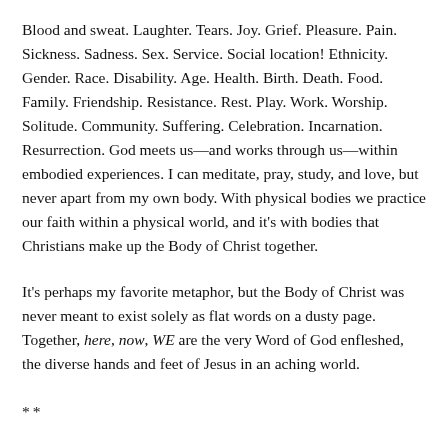Blood and sweat. Laughter. Tears. Joy. Grief. Pleasure. Pain. Sickness. Sadness. Sex. Service. Social location! Ethnicity. Gender. Race. Disability. Age. Health. Birth. Death. Food. Family. Friendship. Resistance. Rest. Play. Work. Worship. Solitude. Community. Suffering. Celebration. Incarnation. Resurrection. God meets us—and works through us—within embodied experiences. I can meditate, pray, study, and love, but never apart from my own body. With physical bodies we practice our faith within a physical world, and it's with bodies that Christians make up the Body of Christ together.
It's perhaps my favorite metaphor, but the Body of Christ was never meant to exist solely as flat words on a dusty page. Together, here, now, WE are the very Word of God enfleshed, the diverse hands and feet of Jesus in an aching world.
**
Glossy magazines, movie trailers, and primetime television tell us that bodies matter, are of consequence, bite, thin, youthful, rigid, healing...